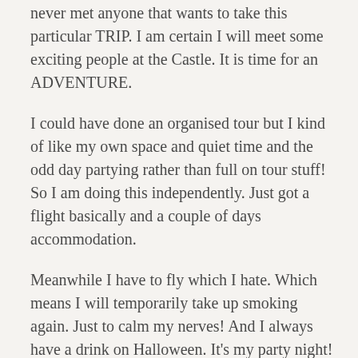never met anyone that wants to take this particular TRIP. I am certain I will meet some exciting people at the Castle. It is time for an ADVENTURE.
I could have done an organised tour but I kind of like my own space and quiet time and the odd day partying rather than full on tour stuff! So I am doing this independently. Just got a flight basically and a couple of days accommodation.
Meanwhile I have to fly which I hate. Which means I will temporarily take up smoking again. Just to calm my nerves! And I always have a drink on Halloween. It's my party night!